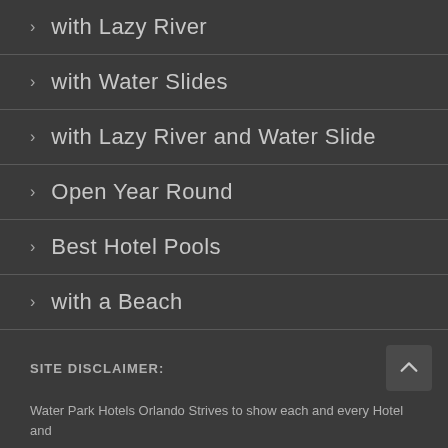> with Lazy River
> with Water Slides
> with Lazy River and Water Slide
> Open Year Round
> Best Hotel Pools
> with a Beach
SITE DISCLAIMER:
Water Park Hotels Orlando Strives to show each and every Hotel and